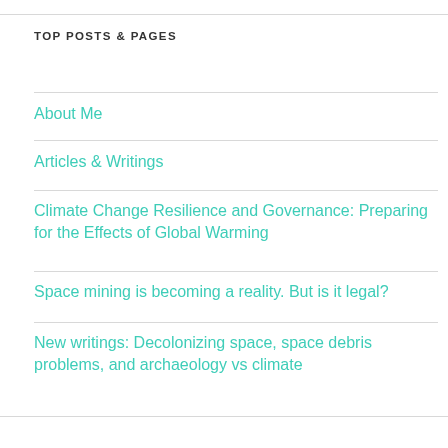TOP POSTS & PAGES
About Me
Articles & Writings
Climate Change Resilience and Governance: Preparing for the Effects of Global Warming
Space mining is becoming a reality. But is it legal?
New writings: Decolonizing space, space debris problems, and archaeology vs climate